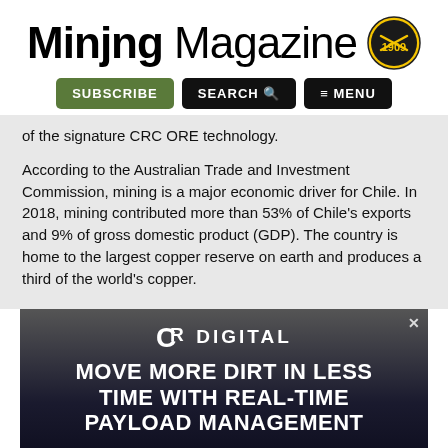Mining Magazine — Established 1909
SUBSCRIBE   SEARCH   ≡ MENU
of the signature CRC ORE technology.
According to the Australian Trade and Investment Commission, mining is a major economic driver for Chile. In 2018, mining contributed more than 53% of Chile's exports and 9% of gross domestic product (GDP). The country is home to the largest copper reserve on earth and produces a third of the world's copper.
[Figure (photo): Advertisement for CR Digital: 'Move More Dirt in Less Time with Real-Time Payload Management' over a dark mining machinery background]